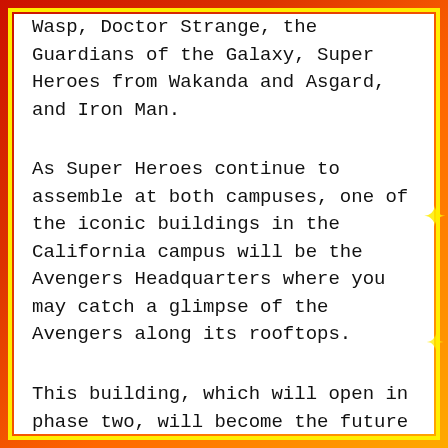Wasp, Doctor Strange, the Guardians of the Galaxy, Super Heroes from Wakanda and Asgard, and Iron Man.
As Super Heroes continue to assemble at both campuses, one of the iconic buildings in the California campus will be the Avengers Headquarters where you may catch a glimpse of the Avengers along its rooftops.
This building, which will open in phase two, will become the future entrance to a brand-new E-Ticket attraction where you will step onboard a Quinjet and fly alongside the Avengers in an epic adventure to Wakanda and beyond! You will team up alongside the Avengers in a battle to save our world against one of the most powerful villains they